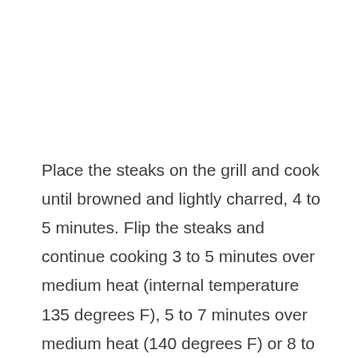Place the steaks on the grill and cook until browned and lightly charred, 4 to 5 minutes. Flip the steaks and continue cooking 3 to 5 minutes over medium heat (internal temperature 135 degrees F), 5 to 7 minutes over medium heat (140 degrees F) or 8 to 10 minutes over medium heat (150 degrees F).